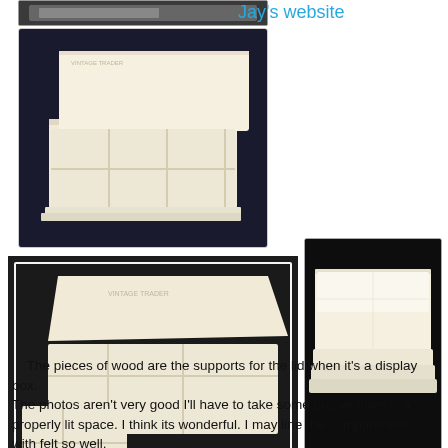[Figure (photo): Partial view of a wooden display box from top, dark background, cropped at top of page]
Jay's website
[Figure (photo): White/cream colored wooden box with compartmented tray and lid, on dark fabric background, viewed from above-front]
[Figure (photo): White/cream wooden display box open showing compartments and separate tray pieces, on dark background]
[Figure (photo): Side view of closed white/cream wooden box stacked in layers, on black background]
The pieces of wood are the supports for the lid when it's a display box.
The photos aren't very good I'll have to take some proper ones in a properly lit space. I think its wonderful. I may line the compartments with felt so well.